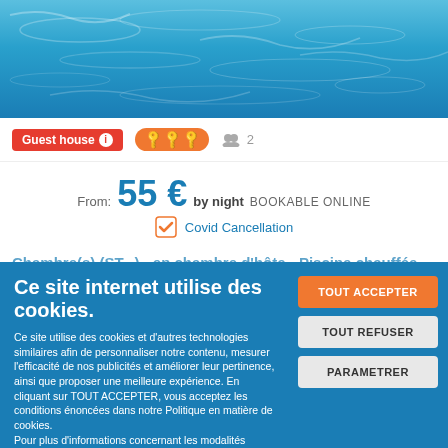[Figure (photo): Swimming pool water surface, blue color, top of page]
Guest house ℹ  🔑🔑🔑  👥 2
From: 55 € by night  BOOKABLE ONLINE
Covid Cancellation
Ce site internet utilise des cookies.
Ce site utilise des cookies et d'autres technologies similaires afin de personnaliser notre contenu, mesurer l'efficacité de nos publicités et améliorer leur pertinence, ainsi que proposer une meilleure expérience. En cliquant sur TOUT ACCEPTER, vous acceptez les conditions énoncées dans notre Politique en matière de cookies.
Pour plus d'informations concernant les modalités d'utilisation des cookies, consultez notre politique de confidentialité.
Pour modifier vos préférences, vous devez mettre paramétrer vos préférences de cookies.
TOUT ACCEPTER
TOUT REFUSER
PARAMETRER